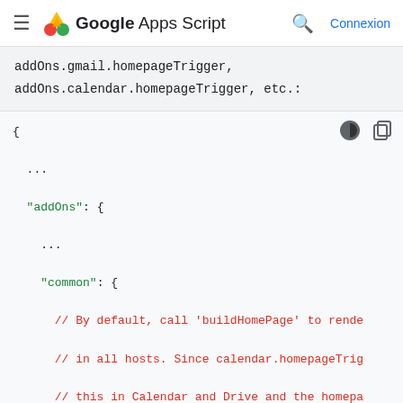Google Apps Script — Connexion
addOns.gmail.homepageTrigger, addOns.calendar.homepageTrigger, etc.:
[Figure (screenshot): JSON code block showing addOns configuration with common, calendar sections and homepageTrigger properties. Comments in red explain behavior. Keys and string values in green.]